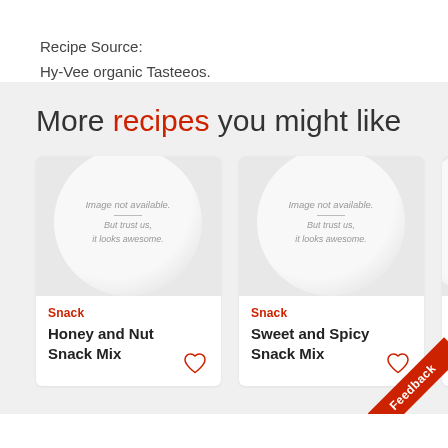Recipe Source:
Hy-Vee organic Tasteeos.
More recipes you might like
[Figure (photo): Recipe card image placeholder showing a white plate with 'Image not available. But trust us, it looks awesome.' text. Card labeled 'Snack' with title 'Honey and Nut Snack Mix']
[Figure (photo): Recipe card image placeholder showing a white plate with 'Image not available. But trust us, it looks awesome.' text. Card labeled 'Snack' with title 'Sweet and Spicy Snack Mix']
[Figure (photo): Partially visible third recipe card labeled 'Snack' with partial title text 'Snac...']